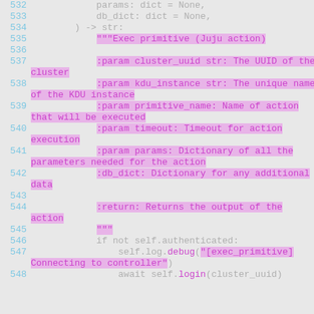[Figure (screenshot): Code snippet showing Python async function lines 532-548, with syntax highlighting. Lines 532-533 show function parameters, line 534 shows return type annotation, lines 535-545 show a docstring, lines 546-548 show function body with authentication check.]